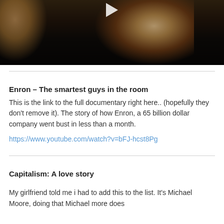[Figure (screenshot): Video thumbnail showing a person's face in dim lighting with a play button at the top center, dark cinematic style]
Enron – The smartest guys in the room
This is the link to the full documentary right here.. (hopefully they don't remove it). The story of how Enron, a 65 billion dollar company went bust in less than a month.
https://www.youtube.com/watch?v=bFJ-hcst8Pg
Capitalism: A love story
My girlfriend told me i had to add this to the list. It's Michael Moore, doing that Michael more does